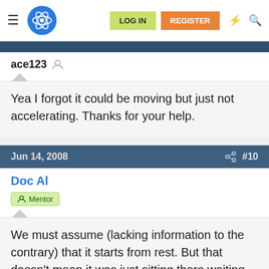LOG IN  REGISTER
ace123
Yea I forgot it could be moving but just not accelerating. Thanks for your help.
Jun 14, 2008  #10
Doc Al  Mentor
We must assume (lacking information to the contrary) that it starts from rest. But that doesn't mean it was just sitting there waiting